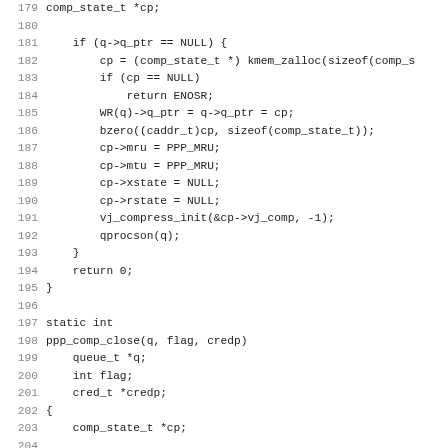Source code listing lines 179-211, C programming language code for PPP compression
179: comp_state_t *cp;
180: (blank)
181:     if (q->q_ptr == NULL) {
182:         cp = (comp_state_t *) kmem_zalloc(sizeof(comp_s
183:         if (cp == NULL)
184:             return ENOSR;
185:         WR(q)->q_ptr = q->q_ptr = cp;
186:         bzero((caddr_t)cp, sizeof(comp_state_t));
187:         cp->mru = PPP_MRU;
188:         cp->mtu = PPP_MRU;
189:         cp->xstate = NULL;
190:         cp->rstate = NULL;
191:         vj_compress_init(&cp->vj_comp, -1);
192:         qprocson(q);
193:     }
194:     return 0;
195: }
196: (blank)
197: static int
198: ppp_comp_close(q, flag, credp)
199:     queue_t *q;
200:     int flag;
201:     cred_t *credp;
202: {
203:     comp_state_t *cp;
204: (blank)
205:     qprocsoff(q);
206:     cp = (comp_state_t *) q->q_ptr;
207:     if (cp != NULL) {
208:         if (cp->xstate != NULL)
209:             (*cp->xcomp->comp_free)(cp->xstate);
210:         if (cp->rstate != NULL)
211:             (*cp->rcomp->decomp_free)(cp->rstate);